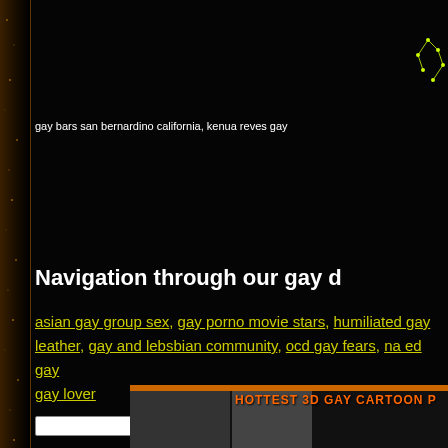[Figure (illustration): Constellation star pattern drawn with yellow dots and lines on black background, top right corner]
gay bars san bernardino california, kenua reves gay
Navigation through our gay d
asian gay group sex, gay porno movie stars, humiliated gay leather, gay and lebsbian community, ocd gay fears, na ed gay gay lover
[Figure (screenshot): Bottom banner image with orange border showing HOTTEST 3D GAY CARTOON P title and photo thumbnails]